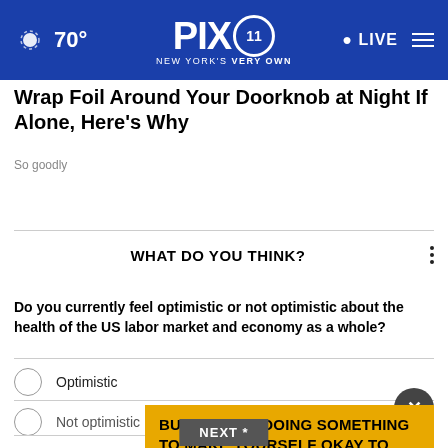70° PIX11 NEW YORK'S VERY OWN LIVE
Wrap Foil Around Your Doorknob at Night If Alone, Here's Why
Sogoodly
WHAT DO YOU THINK?
Do you currently feel optimistic or not optimistic about the health of the US labor market and economy as a whole?
Optimistic
Not optimistic
I'm not sure
BUZZED AND DOING SOMETHING TO MAKE YOURSELF OKAY TO DRIVE?
NEXT *